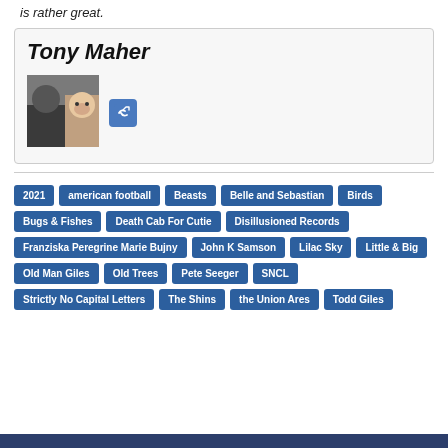is rather great.
Tony Maher
[Figure (photo): Profile photo of Tony Maher showing a person and a pig]
2021
american football
Beasts
Belle and Sebastian
Birds
Bugs & Fishes
Death Cab For Cutie
Disillusioned Records
Franziska Peregrine Marie Bujny
John K Samson
Lilac Sky
Little & Big
Old Man Giles
Old Trees
Pete Seeger
SNCL
Strictly No Capital Letters
The Shins
the Union Ares
Todd Giles